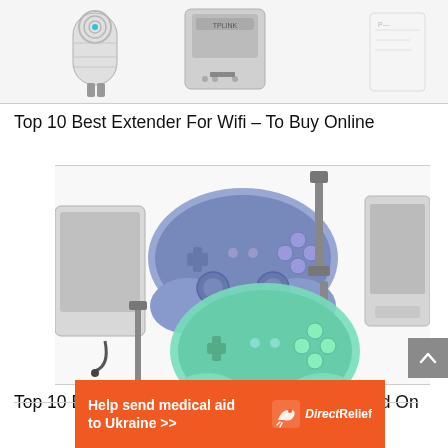[Figure (photo): Three WiFi extender product images in a horizontal strip at the top of the page: a cylindrical white/grey extender, a grey square/box-shaped extender, and a partial white device on the right.]
Top 10 Best Extender For Wifi – To Buy Online
[Figure (photo): Product image area showing two wireless game controllers (one blue/purple, one mint/green) with USB cables, plus partially visible devices on the left and right edges.]
Top 10 Best Electronic Signature Solution Based On...
[Figure (other): Orange advertisement banner: 'Help send medical aid to Ukraine >>' with Direct Relief logo]